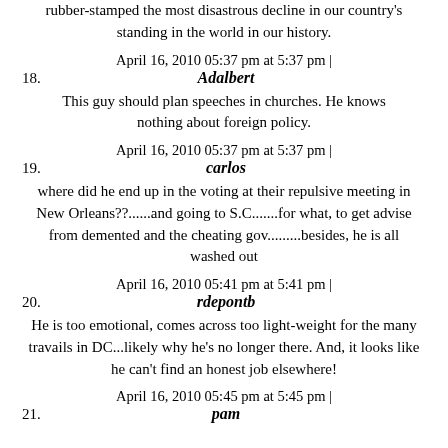rubber-stamped the most disastrous decline in our country's standing in the world in our history.
April 16, 2010 05:37 pm at 5:37 pm |
18. Adalbert
This guy should plan speeches in churches. He knows nothing about foreign policy.
April 16, 2010 05:37 pm at 5:37 pm |
19. carlos
where did he end up in the voting at their repulsive meeting in New Orleans??......and going to S.C.......for what, to get advise from demented and the cheating gov.........besides, he is all washed out
April 16, 2010 05:41 pm at 5:41 pm |
20. rdepontb
He is too emotional, comes across too light-weight for the many travails in DC...likely why he's no longer there. And, it looks like he can't find an honest job elsewhere!
April 16, 2010 05:45 pm at 5:45 pm |
21. pam